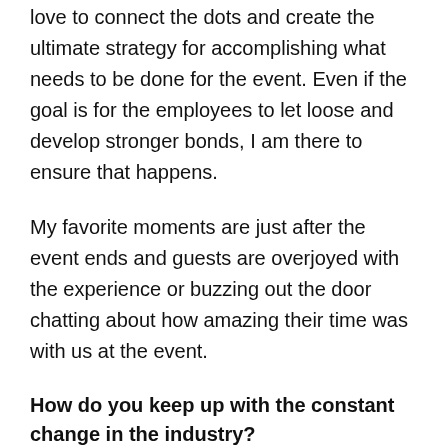love to connect the dots and create the ultimate strategy for accomplishing what needs to be done for the event. Even if the goal is for the employees to let loose and develop stronger bonds, I am there to ensure that happens.
My favorite moments are just after the event ends and guests are overjoyed with the experience or buzzing out the door chatting about how amazing their time was with us at the event.
How do you keep up with the constant change in the industry?
We...